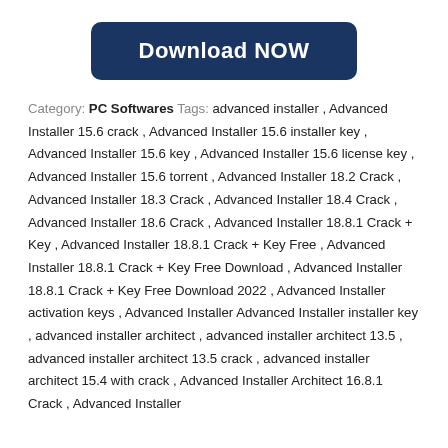[Figure (other): Dark navy blue rounded rectangle button with white bold text 'Download NOW']
Category: PC Softwares Tags: advanced installer , Advanced Installer 15.6 crack , Advanced Installer 15.6 installer key , Advanced Installer 15.6 key , Advanced Installer 15.6 license key , Advanced Installer 15.6 torrent , Advanced Installer 18.2 Crack , Advanced Installer 18.3 Crack , Advanced Installer 18.4 Crack , Advanced Installer 18.6 Crack , Advanced Installer 18.8.1 Crack + Key , Advanced Installer 18.8.1 Crack + Key Free , Advanced Installer 18.8.1 Crack + Key Free Download , Advanced Installer 18.8.1 Crack + Key Free Download 2022 , Advanced Installer activation keys , Advanced Installer Advanced Installer installer key , advanced installer architect , advanced installer architect 13.5 , advanced installer architect 13.5 crack , advanced installer architect 15.4 with crack , Advanced Installer Architect 16.8.1 Crack , Advanced Installer